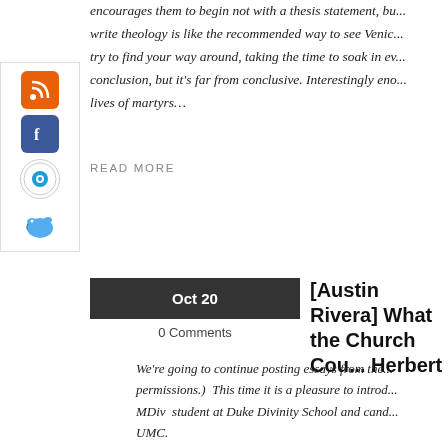encourages them to begin not with a thesis statement, bu... write theology is like the recommended way to see Venic... try to find your way around, taking the time to soak in ev... conclusion, but it's far from conclusive. Interestingly eno... lives of martyrs…
READ MORE
[Figure (infographic): Sidebar with social media icons: RSS (orange), Facebook (blue), an eye/watch icon, and a Twitter bird icon]
Oct 20
0 Comments
[Austin Rivera] What the Church Cou... Herbert
We're going to continue posting essays from the... permissions.)  This time it is a pleasure to introd... MDiv  student at Duke Divinity School and cand... UMC.